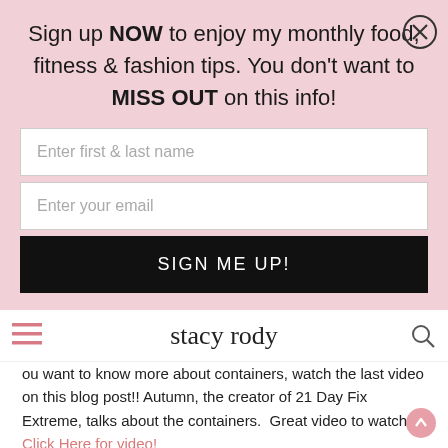Sign up NOW to enjoy my monthly food, fitness & fashion tips. You don't want to MISS OUT on this info!
Enter first & last name
Enter your email
SIGN ME UP!
[Figure (logo): stacy rody cursive script logo in navigation bar]
ou want to know more about containers, watch the last video on this blog post!! Autumn, the creator of 21 Day Fix Extreme, talks about the containers.  Great video to watch.  Click Here for video!
So, go do some weighted sumo squats and let me know how you feel.  Please contact me if you have any